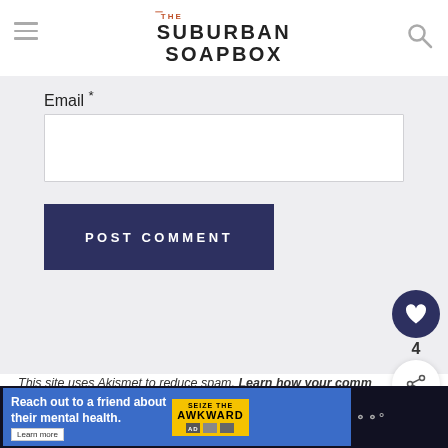THE SUBURBAN SOAPBOX
Email *
[Figure (screenshot): Email input text field, empty, white background]
[Figure (screenshot): POST COMMENT button, dark navy blue background with white uppercase text]
[Figure (screenshot): Heart/like button circle (navy) with heart icon, count 4, and share icon circle below]
This site uses Akismet to reduce spam. Learn how your comment data is processed.
[Figure (screenshot): WHAT'S NEXT arrow with thumbnail image and text 'Pink Champagne...']
[Figure (screenshot): Advertisement banner: Reach out to a friend about their mental health. SEIZE THE AWKWARD. Learn more.]